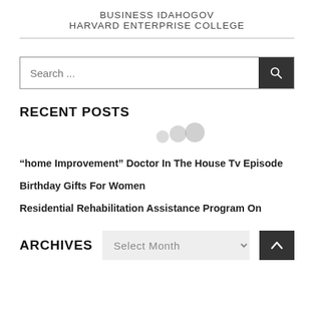BUSINESS IDAHOGOV
HARVARD ENTERPRISE COLLEGE
[Figure (screenshot): Search bar with placeholder text 'Search ...' and a dark search button with magnifying glass icon]
RECENT POSTS
[Figure (other): Loading animation dots (three grey circles)]
“home Improvement” Doctor In The House Tv Episode
Birthday Gifts For Women
Residential Rehabilitation Assistance Program On
ARCHIVES